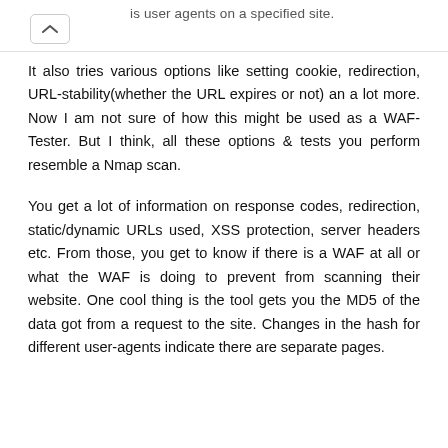is user agents on a specified site.
It also tries various options like setting cookie, redirection, URL-stability(whether the URL expires or not) an a lot more. Now I am not sure of how this might be used as a WAF-Tester. But I think, all these options & tests you perform resemble a Nmap scan.
You get a lot of information on response codes, redirection, static/dynamic URLs used, XSS protection, server headers etc. From those, you get to know if there is a WAF at all or what the WAF is doing to prevent from scanning their website. One cool thing is the tool gets you the MD5 of the data got from a request to the site. Changes in the hash for different user-agents indicate there are separate pages.